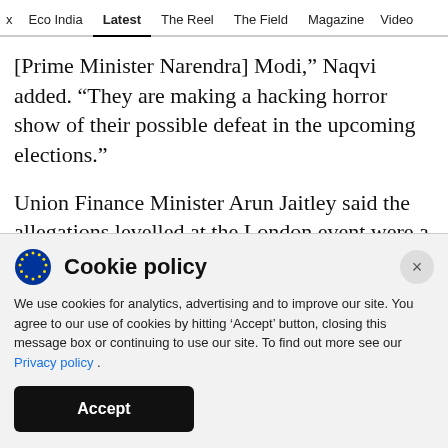x  Eco India  Latest  The Reel  The Field  Magazine  Video
[Prime Minister Narendra] Modi," Naqvi added. “They are making a hacking horror show of their possible defeat in the upcoming elections.”
Union Finance Minister Arun Jaitley said the allegations levelled at the London event were a lie. “After Rafale, the non-existent loan waiver to 15 industrialists – the next big lie – EVM hacking,”
Cookie policy
We use cookies for analytics, advertising and to improve our site. You agree to our use of cookies by hitting ‘Accept’ button, closing this message box or continuing to use our site. To find out more see our Privacy policy .
Accept